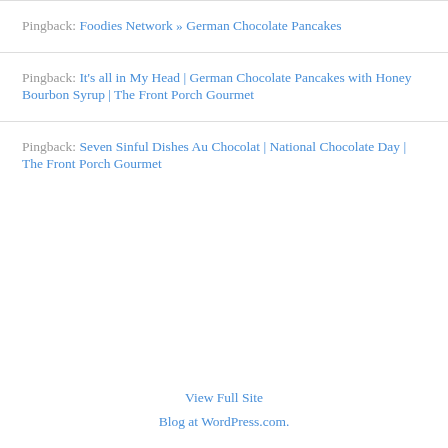Pingback: Foodies Network » German Chocolate Pancakes
Pingback: It's all in My Head | German Chocolate Pancakes with Honey Bourbon Syrup | The Front Porch Gourmet
Pingback: Seven Sinful Dishes Au Chocolat | National Chocolate Day | The Front Porch Gourmet
View Full Site
Blog at WordPress.com.